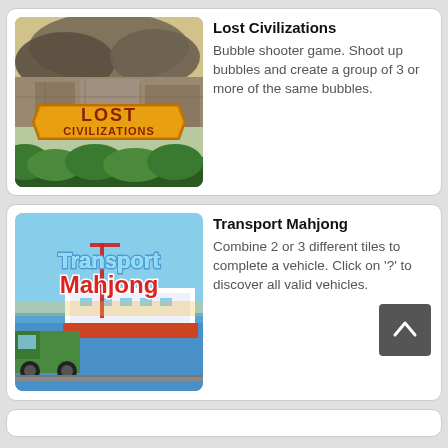[Figure (screenshot): Lost Civilizations game thumbnail showing cartoon jungle/ruins landscape with 'LOST CIVILIZATIONS' logo text]
Lost Civilizations
Bubble shooter game. Shoot up bubbles and create a group of 3 or more of the same bubbles.
[Figure (screenshot): Transport Mahjong game thumbnail showing transport vehicles, boat, crane, and 'Transport Mahjong' logo text]
Transport Mahjong
Combine 2 or 3 different tiles to complete a vehicle. Click on '?' to discover all valid vehicles.